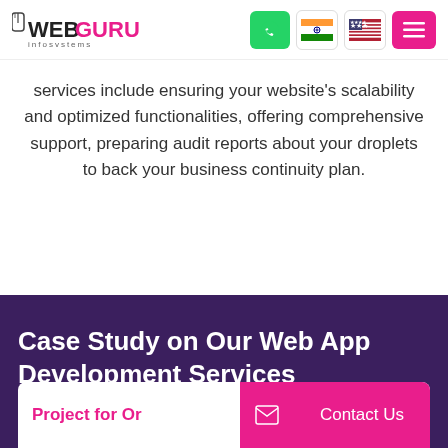WebGuru Infosystems
services include ensuring your website’s scalability and optimized functionalities, offering comprehensive support, preparing audit reports about your droplets to back your business continuity plan.
Case Study on Our Web App Development Services
Project for Or... Contact Us